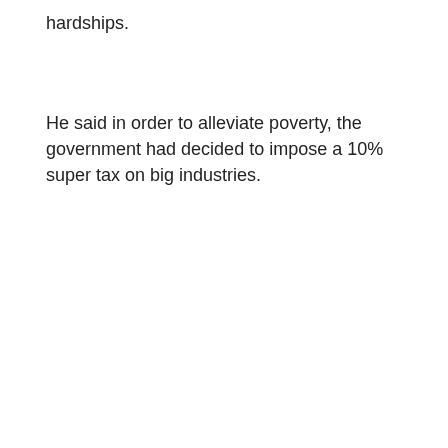hardships.
He said in order to alleviate poverty, the government had decided to impose a 10% super tax on big industries.